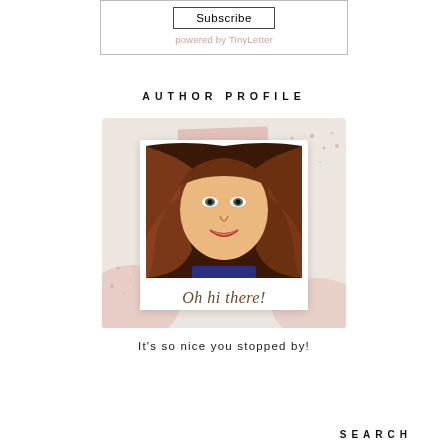[Figure (other): Subscribe box with a Subscribe button and 'powered by TinyLetter' text below]
AUTHOR PROFILE
[Figure (photo): Author profile photo in a polaroid-style frame with pink decorative background, tape on top, and 'Oh hi there!' script text at bottom]
It's so nice you stopped by!
SEARCH